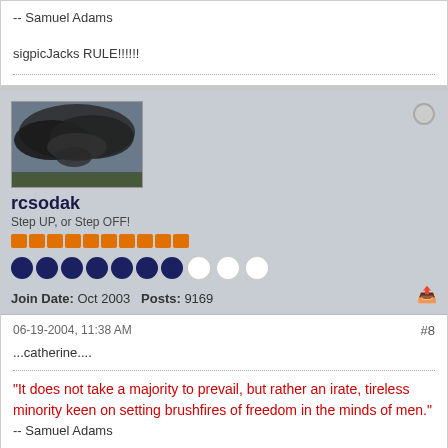-- Samuel Adams
sigpicJacks RULE!!!!!!
[Figure (photo): Storm cloud avatar image for user rcsodak]
rcsodak
Step UP, or Step OFF!
Join Date: Oct 2003   Posts: 9169
06-19-2004, 11:38 AM   #8
...catherine....
"It does not take a majority to prevail, but rather an irate, tireless minority keen on setting brushfires of freedom in the minds of men."
-- Samuel Adams
sigpicJacks RULE!!!!!!